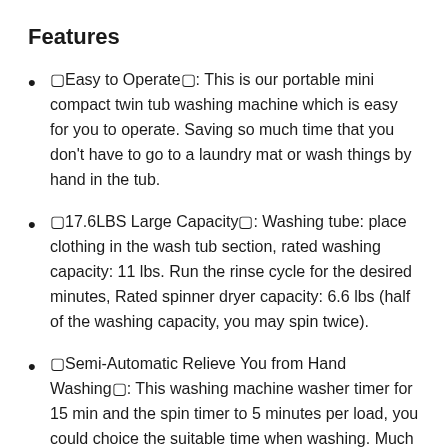Features
🔷Easy to Operate🔷: This is our portable mini compact twin tub washing machine which is easy for you to operate. Saving so much time that you don't have to go to a laundry mat or wash things by hand in the tub.
🔷17.6LBS Large Capacity🔷: Washing tube: place clothing in the wash tub section, rated washing capacity: 11 lbs. Run the rinse cycle for the desired minutes, Rated spinner dryer capacity: 6.6 lbs (half of the washing capacity, you may spin twice).
🔷Semi-Automatic Relieve You from Hand Washing🔷: This washing machine washer timer for 15 min and the spin timer to 5 minutes per load, you could choice the suitable time when washing. Much more freedom and options as opposed to standard washing machines that have